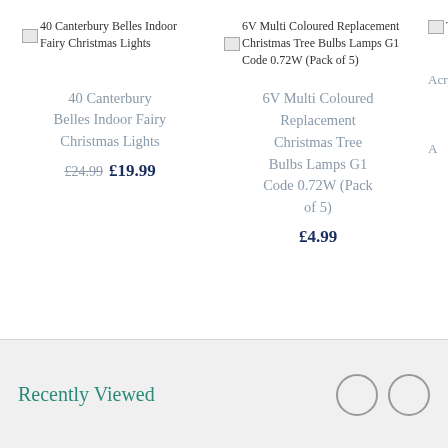[Figure (other): Broken image icon for 40 Canterbury Belles Indoor Fairy Christmas Lights product]
40 Canterbury Belles Indoor Fairy Christmas Lights
40 Canterbury Belles Indoor Fairy Christmas Lights
£24.99  £19.99
[Figure (other): Broken image icon for 6V Multi Coloured Replacement Christmas Tree Bulbs Lamps G1 Code 0.72W (Pack of 5) product]
6V Multi Coloured Replacement Christmas Tree Bulbs Lamps G1 Code 0.72W (Pack of 5)
6V Multi Coloured Replacement Christmas Tree Bulbs Lamps G1 Code 0.72W (Pack of 5)
£4.99
[Figure (other): Partially visible broken image icon for a third product (Acrylic...)]
Th Acryli
Recently Viewed